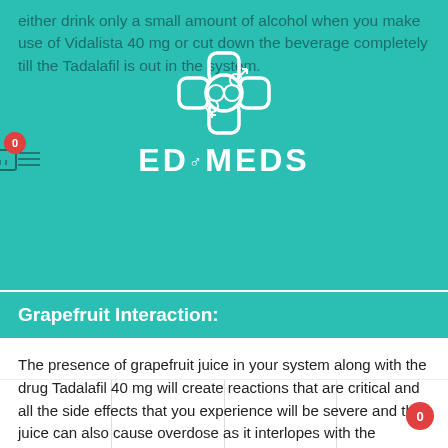either drink only a small amount of alcohol when you make use of Vidalista 40 mg or cut down the beverage completely till the Tadalafil is out in the system.
[Figure (logo): ED Meds logo with gender symbols icon in teal/white]
Grapefruit Interaction:
The presence of grapefruit juice in your system along with the drug Tadalafil 40 mg will create reactions that are critical and all the side effects that you experience will be severe and the juice can also cause overdose as it interlopes with the expulsion of the drug from the body.
So grapefruit juice should be completely off the menu for you when you are making use of the Vidalista 40 mg oral tablet.